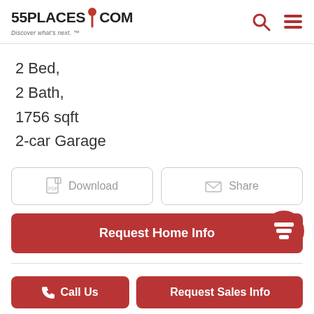55PLACES.COM — Discover what's next.
2 Bed,
2 Bath,
1756 sqft
2-car Garage
Download
Share
Request Home Info
Cedar - Single Family Homes
Call Us
Request Sales Info